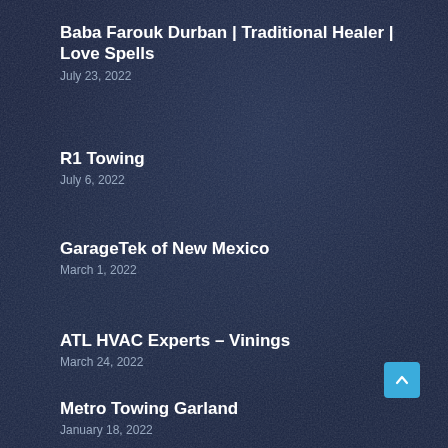Baba Farouk Durban | Traditional Healer | Love Spells
July 23, 2022
R1 Towing
July 6, 2022
GarageTek of New Mexico
March 1, 2022
ATL HVAC Experts – Vinings
March 24, 2022
Metro Towing Garland
January 18, 2022